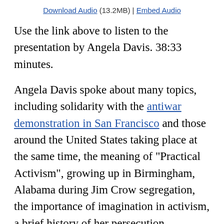Download Audio (13.2MB) | Embed Audio
Use the link above to listen to the presentation by Angela Davis. 38:33 minutes.
Angela Davis spoke about many topics, including solidarity with the antiwar demonstration in San Francisco and those around the United States taking place at the same time, the meaning of "Practical Activism", growing up in Birmingham, Alabama during Jim Crow segregation, the importance of imagination in activism, a brief history of her persecution, organized resistance in the 1930s and 1960s, prisons, the juggernaut of